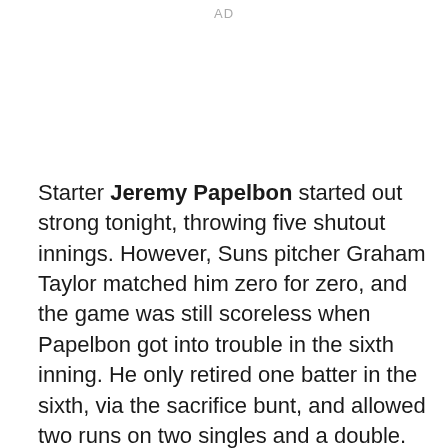AD
Starter Jeremy Papelbon started out strong tonight, throwing five shutout innings. However, Suns pitcher Graham Taylor matched him zero for zero, and the game was still scoreless when Papelbon got into trouble in the sixth inning. He only retired one batter in the sixth, via the sacrifice bunt, and allowed two runs on two singles and a double. He exited with men on second and third and one out. Although reliever Alex Maestri pitched out of the jam by striking out two batters (after walking the bases loaded first), the damage had been done.